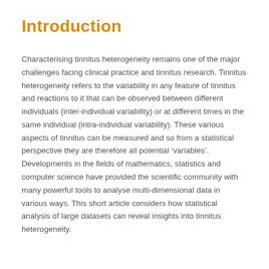Introduction
Characterising tinnitus heterogeneity remains one of the major challenges facing clinical practice and tinnitus research. Tinnitus heterogeneity refers to the variability in any feature of tinnitus and reactions to it that can be observed between different individuals (inter-individual variability) or at different times in the same individual (intra-individual variability). These various aspects of tinnitus can be measured and so from a statistical perspective they are therefore all potential ‘variables’. Developments in the fields of mathematics, statistics and computer science have provided the scientific community with many powerful tools to analyse multi-dimensional data in various ways. This short article considers how statistical analysis of large datasets can reveal insights into tinnitus heterogeneity.